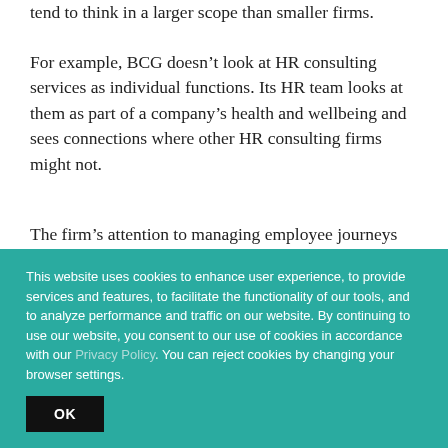tend to think in a larger scope than smaller firms.
For example, BCG doesn’t look at HR consulting services as individual functions. Its HR team looks at them as part of a company’s health and wellbeing and sees connections where other HR consulting firms might not.
The firm’s attention to managing employee journeys throughout the employee lifecycle is a good example
This website uses cookies to enhance user experience, to provide services and features, to facilitate the functionality of our tools, and to analyze performance and traffic on our website. By continuing to use our website, you consent to our use of cookies in accordance with our Privacy Policy. You can reject cookies by changing your browser settings.
OK